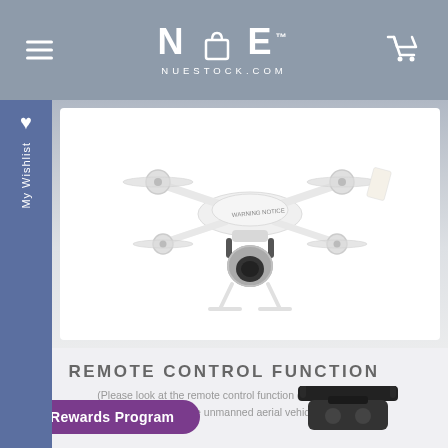NUE NUESTOCK.COM
[Figure (photo): White quadcopter drone with camera gimbal, photographed from below-front angle on white background]
REMOTE CONTROL FUNCTION
(Please look at the remote control function description, and then operate unmanned aerial vehicles)
[Figure (photo): Partial view of remote control / drone controller handle, dark colored, visible at bottom of page]
Rewards Program